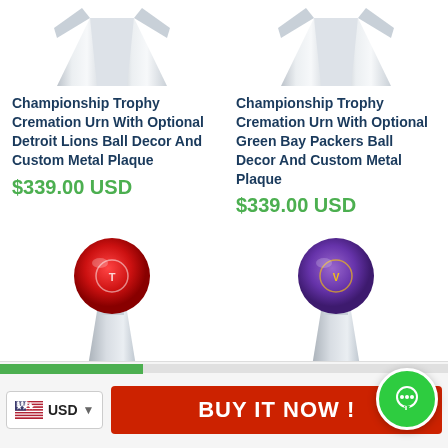[Figure (photo): Championship Trophy Cremation Urn with red Houston Texans ball decor on silver trophy base]
Championship Trophy Cremation Urn With Optional Detroit Lions Ball Decor And Custom Metal Plaque
$339.00 USD
[Figure (photo): Championship Trophy Cremation Urn with purple Minnesota Vikings ball decor on silver trophy base]
Championship Trophy Cremation Urn With Optional Green Bay Packers Ball Decor And Custom Metal Plaque
$339.00 USD
USD  BUY IT NOW!